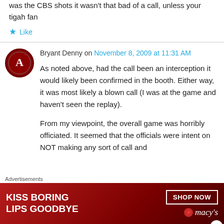was the CBS shots it wasn't that bad of a call, unless your tigah fan
Like
Bryant Denny on November 8, 2009 at 11:31 AM
As noted above, had the call been an interception it would likely been confirmed in the booth. Either way, it was most likely a blown call (I was at the game and haven't seen the replay).

From my viewpoint, the overall game was horribly officiated. It seemed that the officials were intent on NOT making any sort of call and
Advertisements
[Figure (illustration): Macy's advertisement banner: 'KISS BORING LIPS GOODBYE' with SHOP NOW button and Macy's logo with star]